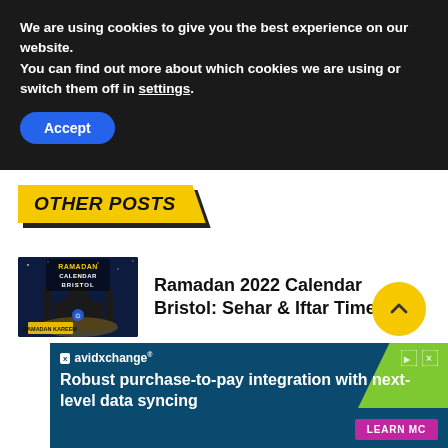We are using cookies to give you the best experience on our website.
You can find out more about which cookies we are using or switch them off in settings.
Accept
OTHER POSTS
[Figure (photo): Thumbnail image for Ramadan 2022 Calendar Bristol article, showing mosque silhouette at night with Ramadan Calendar Bristol text overlay]
Ramadan 2022 Calendar Bristol: Sehar & Iftar Time
[Figure (other): Yellow circular back-to-top button with upward chevron arrow]
[Figure (other): AvidXchange advertisement banner: Robust purchase-to-pay integration with next-level data syncing. Learn More button.]